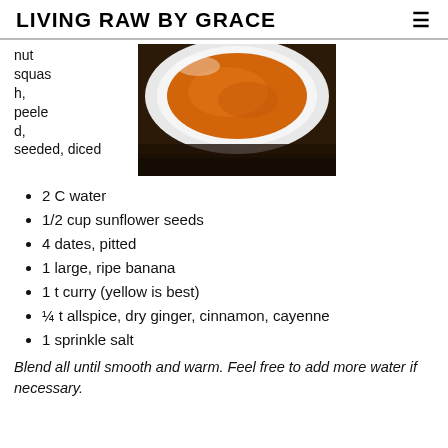LIVING RAW BY GRACE
nut squash, peeled, seeded, diced
[Figure (photo): Orange soup in a white bowl photographed from above, on a dark wooden surface]
2 C water
1/2 cup sunflower seeds
4 dates, pitted
1 large, ripe banana
1 t curry (yellow is best)
¼ t allspice, dry ginger, cinnamon, cayenne
1 sprinkle salt
Blend all until smooth and warm. Feel free to add more water if necessary.